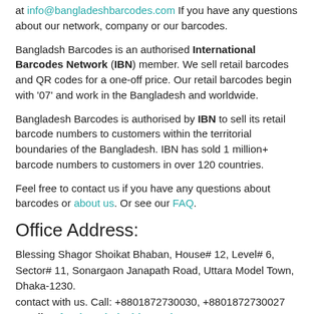at info@bangladeshbarcodes.com If you have any questions about our network, company or our barcodes.
Bangladsh Barcodes is an authorised International Barcodes Network (IBN) member. We sell retail barcodes and QR codes for a one-off price. Our retail barcodes begin with '07' and work in the Bangladesh and worldwide.
Bangladesh Barcodes is authorised by IBN to sell its retail barcode numbers to customers within the territorial boundaries of the Bangladesh. IBN has sold 1 million+ barcode numbers to customers in over 120 countries.
Feel free to contact us if you have any questions about barcodes or about us. Or see our FAQ.
Office Address:
Blessing Shagor Shoikat Bhaban, House# 12, Level# 6, Sector# 11, Sonargaon Janapath Road, Uttara Model Town, Dhaka-1230. contact with us. Call: +8801872730030, +8801872730027 Email: info@bangladeshbarcodes.com